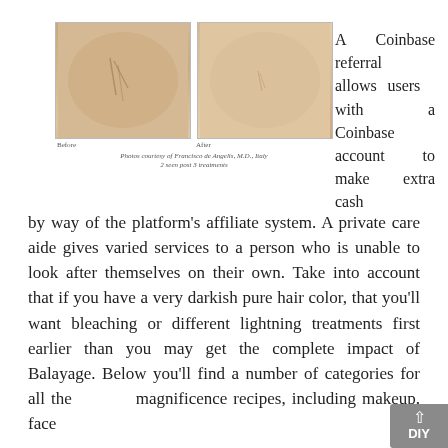[Figure (photo): Two side-by-side medical/cosmetic photos showing skin before and after treatment. Left labeled 'Before', right labeled 'After'. Caption reads: Photos courtesy of Francisco de Angelis, M.D., Italy / 2 seen post 3 treatments]
A Coinbase referral allows users with a Coinbase account to make extra cash by way of the platform's affiliate system. A private care aide gives varied services to a person who is unable to look after themselves on their own. Take into account that if you have a very darkish pure hair color, that you'll want bleaching or different lightning treatments first earlier than you may get the complete impact of Balayage. Below you'll find a number of categories for all the DIY magnificence recipes, including makeup, face